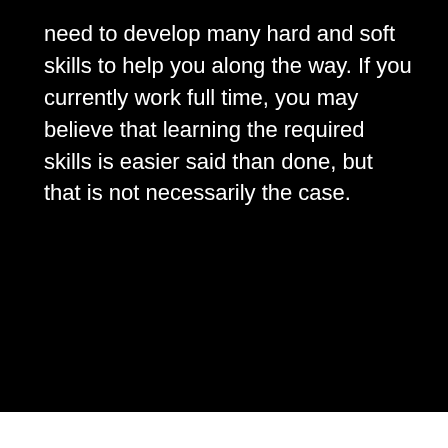need to develop many hard and soft skills to help you along the way. If you currently work full time, you may believe that learning the required skills is easier said than done, but that is not necessarily the case.